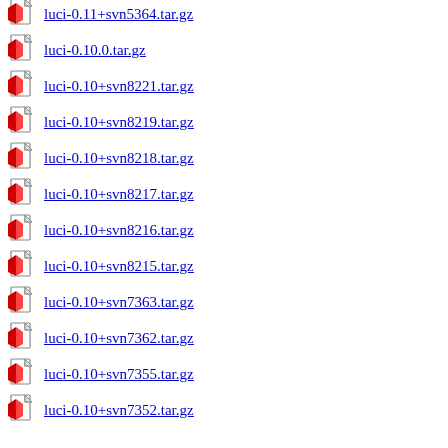luci-0.11+svn5364.tar.gz
luci-0.10.0.tar.gz
luci-0.10+svn8221.tar.gz
luci-0.10+svn8219.tar.gz
luci-0.10+svn8218.tar.gz
luci-0.10+svn8217.tar.gz
luci-0.10+svn8216.tar.gz
luci-0.10+svn8215.tar.gz
luci-0.10+svn7363.tar.gz
luci-0.10+svn7362.tar.gz
luci-0.10+svn7355.tar.gz
luci-0.10+svn7352.tar.gz